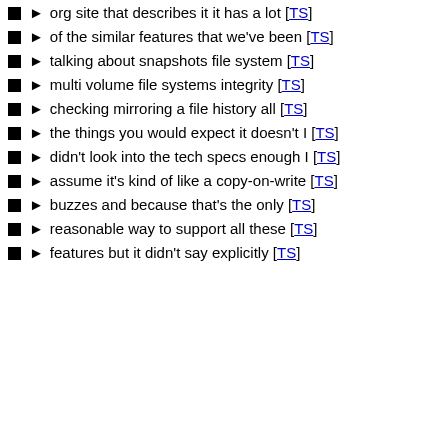org site that describes it it has a lot [TS]
of the similar features that we've been [TS]
talking about snapshots file system [TS]
multi volume file systems integrity [TS]
checking mirroring a file history all [TS]
the things you would expect it doesn't I [TS]
didn't look into the tech specs enough I [TS]
assume it's kind of like a copy-on-write [TS]
buzzes and because that's the only [TS]
reasonable way to support all these [TS]
features but it didn't say explicitly [TS]